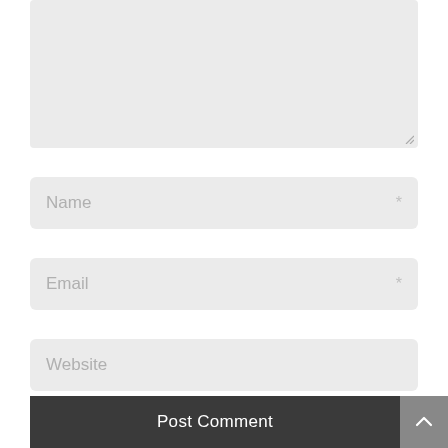[Figure (screenshot): A comment form textarea (grey background, resizable) at the top of the page, mostly empty.]
Name *
Email *
Website
Post Comment